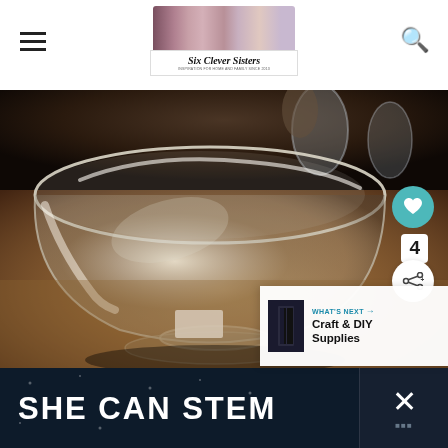[Figure (logo): Six Clever Sisters blog logo with group photo of six women and script text]
[Figure (photo): Close-up photo of a clear glass mixing bowl on a wooden surface with other glassware in background]
4
WHAT'S NEXT → Craft & DIY Supplies
[Figure (screenshot): Ad banner reading SHE CAN STEM with close button]